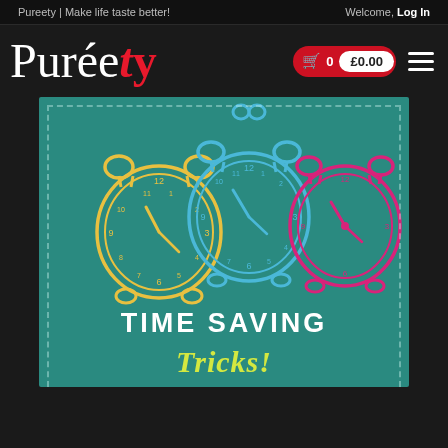Pureety | Make life taste better!
Welcome, Log In
[Figure (logo): Pureety logo in white and red with shopping cart showing 0 items and £0.00, plus hamburger menu icon]
[Figure (illustration): Teal banner with three alarm clocks in yellow, blue, and pink/magenta colors. Text reads TIME SAVING Tricks!]